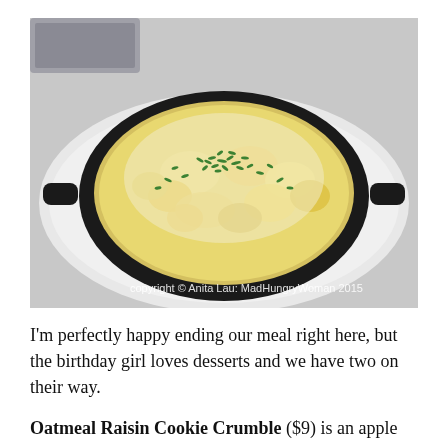[Figure (photo): A cast iron skillet filled with a bubbling baked dish topped with melted cheese and chopped green chives/herbs. The skillet sits on a white plate. A watermark reads 'copyright © Anita Lau: MadHungryWoman 2015'.]
I'm perfectly happy ending our meal right here, but the birthday girl loves desserts and we have two on their way.
Oatmeal Raisin Cookie Crumble ($9) is an apple